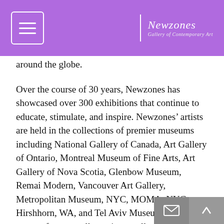Newzones Gallery of Contemporary Art
around the globe.
Over the course of 30 years, Newzones has showcased over 300 exhibitions that continue to educate, stimulate, and inspire. Newzones’ artists are held in the collections of premier museums including National Gallery of Canada, Art Gallery of Ontario, Montreal Museum of Fine Arts, Art Gallery of Nova Scotia, Glenbow Museum, Remai Modern, Vancouver Art Gallery, Metropolitan Museum, NYC, MOMA, NYC, Hirshhorn, WA, and Tel Aviv Museum, Israel, to name a few, as well as private collections world-wide.
Newzones is delighted to celebrate this milestone in the city of Calgary. Now, as we cast our gaze forward, we continue to reimagine a “west” that is unwavering